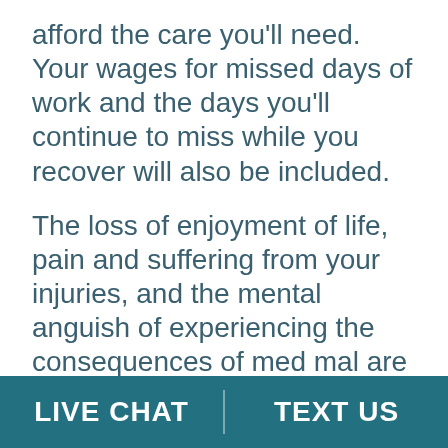afford the care you'll need. Your wages for missed days of work and the days you'll continue to miss while you recover will also be included.
The loss of enjoyment of life, pain and suffering from your injuries, and the mental anguish of experiencing the consequences of med mal are noneconomic losses that your lawyer will take into consideration when calculating your compensation.
Medical malpractice cases can become complex, which is why it's best to have an experienced Pine Bluff medical malpractice lawyer help you.
LIVE CHAT   TEXT US